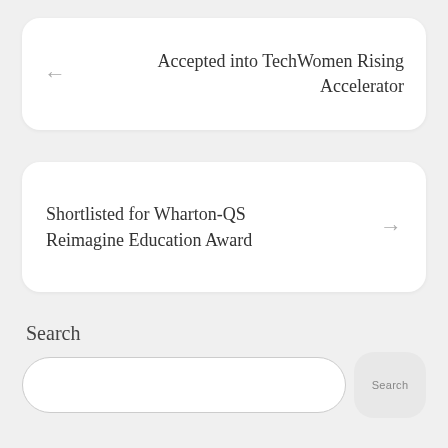Accepted into TechWomen Rising Accelerator
Shortlisted for Wharton-QS Reimagine Education Award
Search